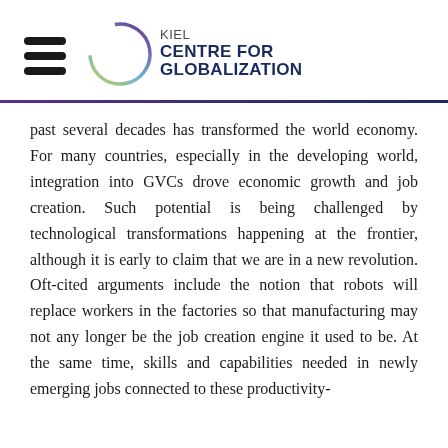[Figure (logo): Kiel Centre for Globalization logo with hamburger menu icon and circular arc graphic]
past several decades has transformed the world economy. For many countries, especially in the developing world, integration into GVCs drove economic growth and job creation. Such potential is being challenged by technological transformations happening at the frontier, although it is early to claim that we are in a new revolution. Oft-cited arguments include the notion that robots will replace workers in the factories so that manufacturing may not any longer be the job creation engine it used to be. At the same time, skills and capabilities needed in newly emerging jobs connected to these productivity-